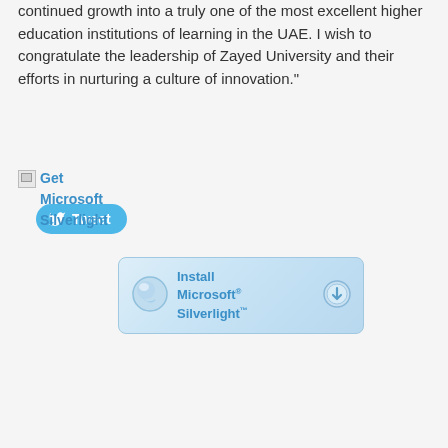continued growth into a truly one of the most excellent higher education institutions of learning in the UAE. I wish to congratulate the leadership of Zayed University and their efforts in nurturing a culture of innovation."
[Figure (other): Tweet button with Twitter bird icon]
[Figure (other): Broken image icon linking to Get Microsoft Silverlight]
Get Microsoft Silverlight
[Figure (screenshot): Install Microsoft Silverlight banner with logo icon and download arrow button]